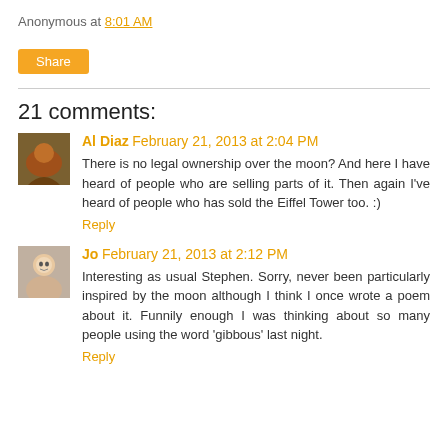Anonymous at 8:01 AM
Share
21 comments:
Al Diaz  February 21, 2013 at 2:04 PM
There is no legal ownership over the moon? And here I have heard of people who are selling parts of it. Then again I've heard of people who has sold the Eiffel Tower too. :)
Reply
Jo  February 21, 2013 at 2:12 PM
Interesting as usual Stephen. Sorry, never been particularly inspired by the moon although I think I once wrote a poem about it. Funnily enough I was thinking about so many people using the word 'gibbous' last night.
Reply